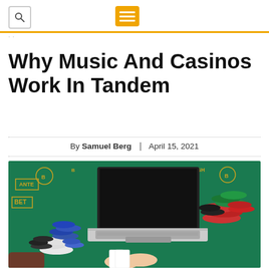Why Music And Casinos Work In Tandem
By Samuel Berg | April 15, 2021
[Figure (photo): Overhead view of a casino blackjack table with a laptop, poker chips (blue, white, black, red, green), and hands holding playing cards on green felt]